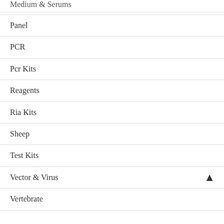Medium & Serums
Panel
PCR
Pcr Kits
Reagents
Ria Kits
Sheep
Test Kits
Vector & Virus
Vertebrate